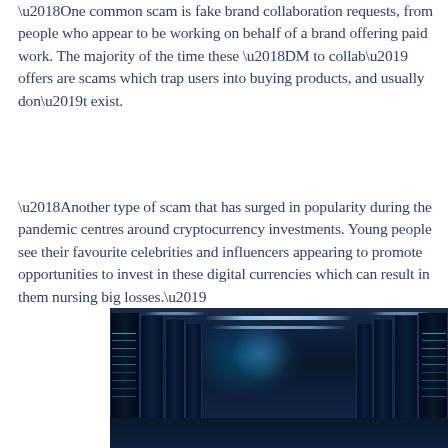‘One common scam is fake brand collaboration requests, from people who appear to be working on behalf of a brand offering paid work. The majority of the time these ‘DM to collab’ offers are scams which trap users into buying products, and usually don’t exist.
‘Another type of scam that has surged in popularity during the pandemic centres around cryptocurrency investments. Young people see their favourite celebrities and influencers appearing to promote opportunities to invest in these digital currencies which can result in them nursing big losses.’
[Figure (photo): Photo of a server room corridor with rows of server racks on both sides, illuminated by blue neon lighting from the ceiling and server indicators, with a perspective view down the corridor.]